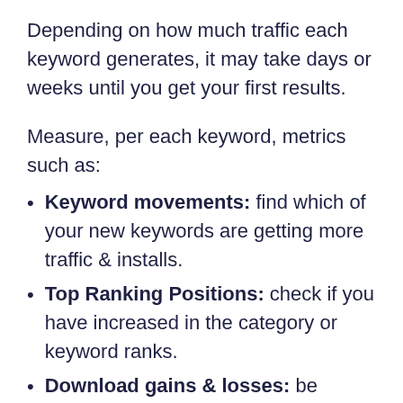Depending on how much traffic each keyword generates, it may take days or weeks until you get your first results.
Measure, per each keyword, metrics such as:
Keyword movements: find which of your new keywords are getting more traffic & installs.
Top Ranking Positions: check if you have increased in the category or keyword ranks.
Download gains & losses: be aware of stational changes when comparing historical data.
Conversion Rate by Keyword: in Google Play Console's Search Terms section – it will show you which keywords convert better and which